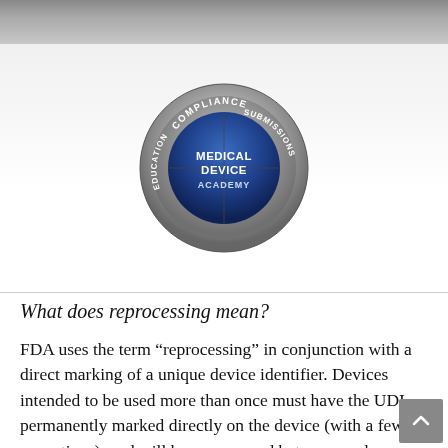[Figure (logo): Medical Device Academy circular badge logo with sections labeled Compliance, Submissions, Education around a blue center disc reading Medical Device Academy]
What does reprocessing mean?
FDA uses the term “reprocessing” in conjunction with a direct marking of a unique device identifier. Devices intended to be used more than once must have the UDI permanently marked directly on the device (with a few exceptions), and will be reprocessed between each use. However, the FDA has not yet defined